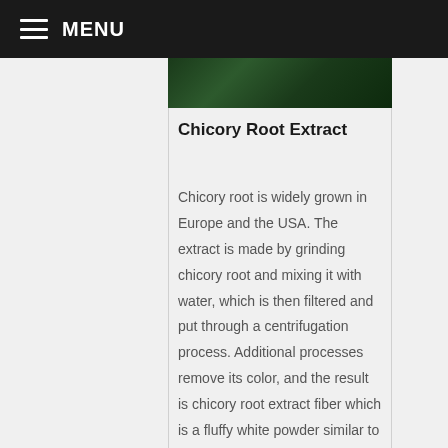MENU
[Figure (photo): Close-up photo of dark green chicory plant leaves]
Chicory Root Extract
Chicory root is widely grown in Europe and the USA. The extract is made by grinding chicory root and mixing it with water, which is then filtered and put through a centrifugation process. Additional processes remove its color, and the result is chicory root extract fiber which is a fluffy white powder similar to granulated sugar, but only